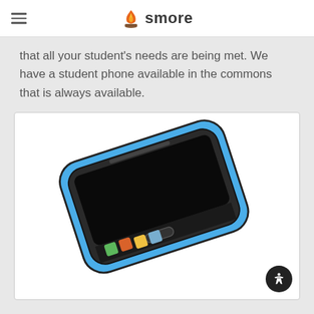smore
that all your student's needs are being met. We have a student phone available in the commons that is always available.
[Figure (illustration): Illustration of a smartphone lying flat at an angle, with a blue case, black screen, and colorful app icons (green, orange, yellow, blue) on the bottom bar.]